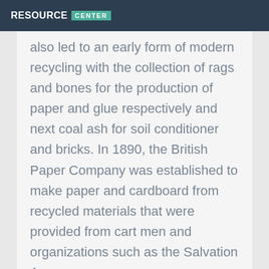RESOURCE CENTER
also led to an early form of modern recycling with the collection of rags and bones for the production of paper and glue respectively and next coal ash for soil conditioner and bricks. In 1890, the British Paper Company was established to make paper and cardboard from recycled materials that were provided from cart men and organizations such as the Salvation Army.